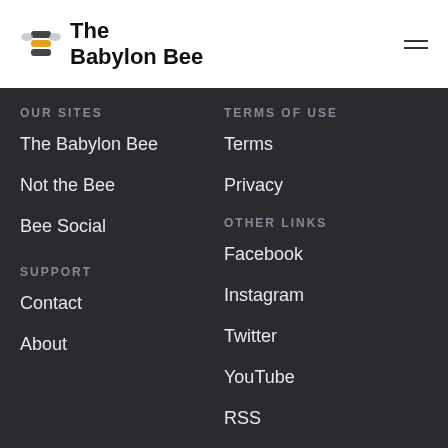The Babylon Bee
OUR SITES
The Babylon Bee
Not the Bee
Bee Social
TERMS OF USE
Terms
Privacy
SUPPORT
Contact
About
OTHER LINKS
Facebook
Instagram
Twitter
YouTube
RSS